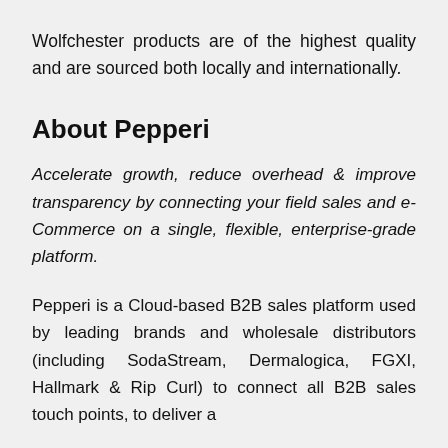Wolfchester products are of the highest quality and are sourced both locally and internationally.
About Pepperi
Accelerate growth, reduce overhead & improve transparency by connecting your field sales and e-Commerce on a single, flexible, enterprise-grade platform.
Pepperi is a Cloud-based B2B sales platform used by leading brands and wholesale distributors (including SodaStream, Dermalogica, FGXI, Hallmark & Rip Curl) to connect all B2B sales touch points, to deliver a